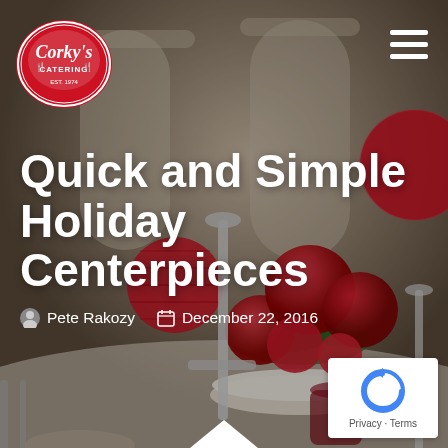[Figure (photo): Hero background photo of a holiday table centerpiece with red ornament balls, green foliage, silver candle holders, and festive table setting. Overlay darkens the image.]
[Figure (logo): Corky's Catering logo — oval red badge with white text 'Corky's' in script and 'CATERING' below, with fork and knife icons.]
Quick and Simple Holiday Centerpieces
Pete Rakozy   December 22, 2016
[Figure (other): reCAPTCHA badge with Google reCAPTCHA logo and 'Privacy - Terms' text.]